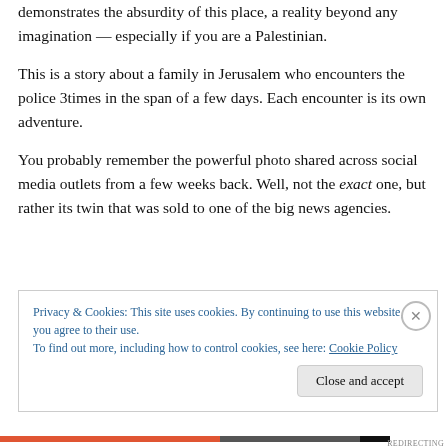demonstrates the absurdity of this place, a reality beyond any imagination — especially if you are a Palestinian.
This is a story about a family in Jerusalem who encounters the police 3times in the span of a few days. Each encounter is its own adventure.
You probably remember the powerful photo shared across social media outlets from a few weeks back. Well, not the exact one, but rather its twin that was sold to one of the big news agencies.
This writing is about the original...
Privacy & Cookies: This site uses cookies. By continuing to use this website, you agree to their use.
To find out more, including how to control cookies, see here: Cookie Policy
Close and accept